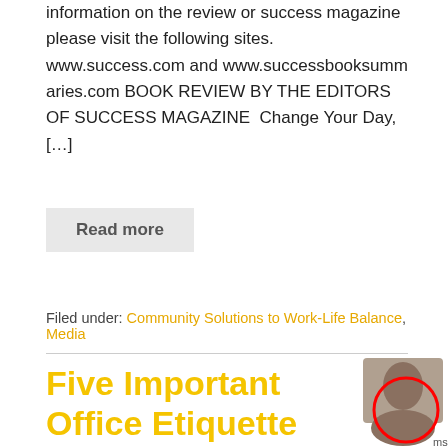information on the review or success magazine please visit the following sites. www.success.com and www.successbooksummaries.com BOOK REVIEW BY THE EDITORS OF SUCCESS MAGAZINE  Change Your Day, [...]
Read more
Filed under: Community Solutions to Work-Life Balance, Media
Five Important Office Etiquette Tips for Increased Productivity in the Workplace
[Figure (photo): Partial circular avatar photo of a person, bottom-right corner, with a red circle outline overlay]